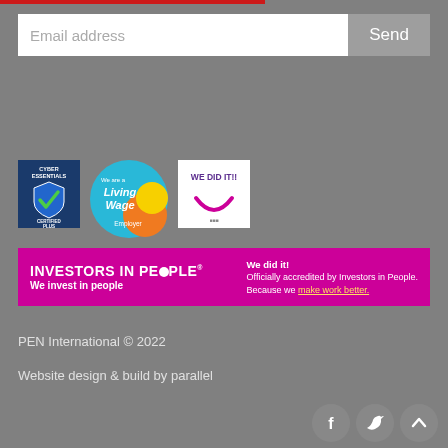Email address
Send
[Figure (logo): Cyber Essentials Certified Plus badge — blue shield with green tick]
[Figure (logo): We are a Living Wage Employer badge — blue circle with orange and yellow circles]
[Figure (logo): WE DID IT!! badge — white background with purple smiley]
[Figure (logo): Investors in People banner — magenta background, white text: INVESTORS IN PEOPLE We invest in people. We did it! Officially accredited by Investors in People. Because we make work better.]
PEN International © 2022
Website design & build by parallel
[Figure (logo): Social media icons: Facebook, Twitter, scroll-up arrow — white icons on grey circles]